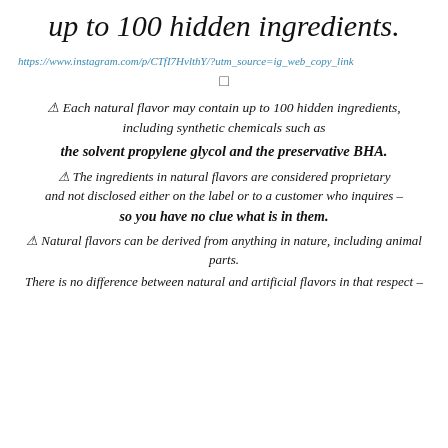up to 100 hidden ingredients.
https://www.instagram.com/p/CTfI7HvlthY/?utm_source=ig_web_copy_link
□
⚠ Each natural flavor may contain up to 100 hidden ingredients, including synthetic chemicals such as
the solvent propylene glycol and the preservative BHA.
⚠ The ingredients in natural flavors are considered proprietary and not disclosed either on the label or to a customer who inquires –
so you have no clue what is in them.
⚠ Natural flavors can be derived from anything in nature, including animal parts.
There is no difference between natural and artificial flavors in that respect –